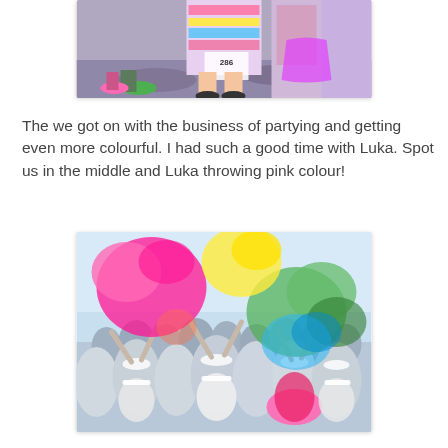[Figure (photo): Bottom half of runners at a color run event, one wearing a tie-dye shirt with number 286 bib, colorful powder on the ground]
The we got on with the business of partying and getting even more colourful. I had such a good time with Luka. Spot us in the middle and Luka throwing pink colour!
[Figure (photo): Crowd of people at a color run event throwing brightly colored powder (pink, green, yellow, blue) into the air, celebrating]